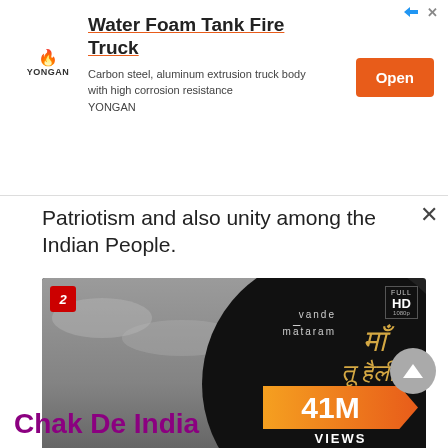[Figure (screenshot): Advertisement banner for Yongan Water Foam Tank Fire Truck with orange Open button]
Patriotism and also unity among the Indian People.
[Figure (screenshot): YouTube video thumbnail for AR Rahman's Vande Mataram with 41M views on Vevo, Full HD 1080p badge, T-Series logo, black and white photo of AR Rahman in white shirt]
Chak De India